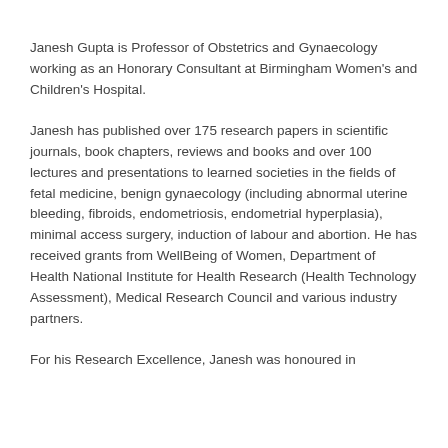Janesh Gupta is Professor of Obstetrics and Gynaecology working as an Honorary Consultant at Birmingham Women's and Children's Hospital.
Janesh has published over 175 research papers in scientific journals, book chapters, reviews and books and over 100 lectures and presentations to learned societies in the fields of fetal medicine, benign gynaecology (including abnormal uterine bleeding, fibroids, endometriosis, endometrial hyperplasia), minimal access surgery, induction of labour and abortion. He has received grants from WellBeing of Women, Department of Health National Institute for Health Research (Health Technology Assessment), Medical Research Council and various industry partners.
For his Research Excellence, Janesh was honoured in